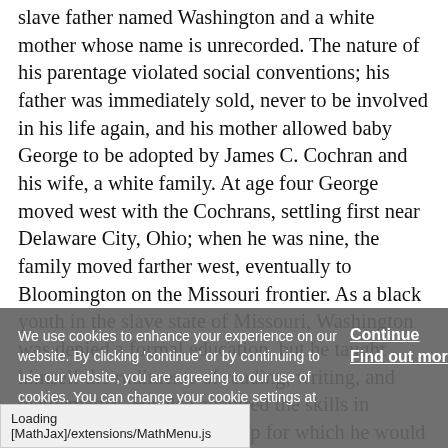slave father named Washington and a white mother whose name is unrecorded. The nature of his parentage violated social conventions; his father was immediately sold, never to be involved in his life again, and his mother allowed baby George to be adopted by James C. Cochran and his wife, a white family. At age four George moved west with the Cochrans, settling first near Delaware City, Ohio; when he was nine, the family moved farther west, eventually to Bloomington on the Missouri frontier. As a black youth in the slave state of Missouri, Washington was denied a formal education, but he taught himself the rudiments of reading, writing, and mathematics. He also acquired the skills in woodcraft and marksmanship for which he would later
We use cookies to enhance your experience on our website. By clicking 'continue' or by continuing to use our website, you are agreeing to our use of cookies. You can change your cookie settings at any time.
Loading [MathJax]/extensions/MathMenu.js